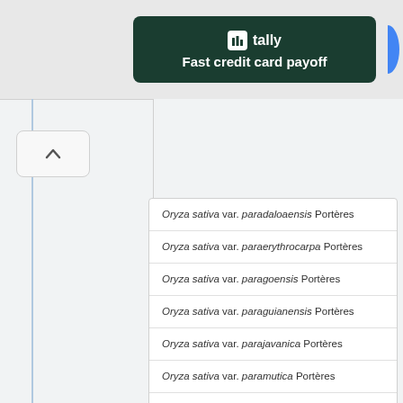[Figure (other): Tally app advertisement banner with dark green background showing 'tally Fast credit card payoff' with a blue circular button on the right]
Oryza sativa var. paradaloaensis Portères
Oryza sativa var. paraerythrocarpa Portères
Oryza sativa var. paragoensis Portères
Oryza sativa var. paraguianensis Portères
Oryza sativa var. parajavanica Portères
Oryza sativa var. paramutica Portères
Oryza sativa var. paraovoidea Portères
Oryza sativa var. paraphilippensis Portères
Oryza sativa var. parasepica Portères
Oryza sativa var. parazeravschanica Portères